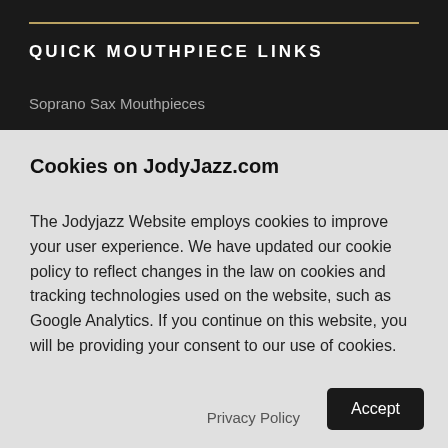QUICK MOUTHPIECE LINKS
Soprano Sax Mouthpieces
Cookies on JodyJazz.com
The Jodyjazz Website employs cookies to improve your user experience. We have updated our cookie policy to reflect changes in the law on cookies and tracking technologies used on the website, such as Google Analytics. If you continue on this website, you will be providing your consent to our use of cookies.
Privacy Policy
Accept